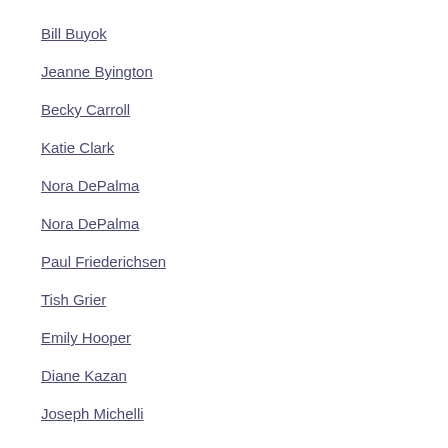Bill Buyok
Jeanne Byington
Becky Carroll
Katie Clark
Nora DePalma
Nora DePalma
Paul Friederichsen
Tish Grier
Emily Hooper
Diane Kazan
Joseph Michelli